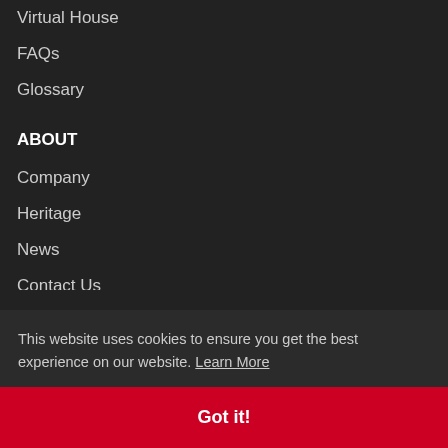Virtual House
FAQs
Glossary
ABOUT
Company
Heritage
News
Contact Us
Careers
Bl...
This website uses cookies to ensure you get the best experience on our website. Learn More
Got it!